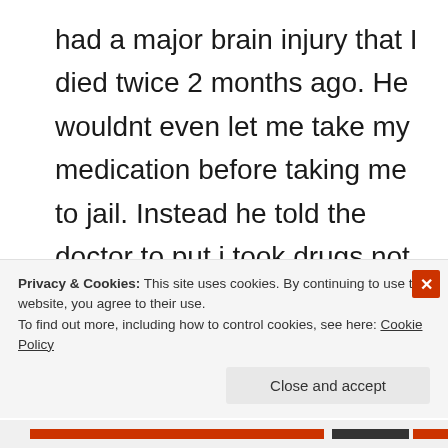had a major brain injury that I died twice 2 months ago. He wouldnt even let me take my medication before taking me to jail. Instead he told the doctor to put i took drugs not prescribed to me. The drug and alchohol test was done at the hosipital. I went to get my records from them and they said they dont have record of a blood draw. didn't read me
Privacy & Cookies: This site uses cookies. By continuing to use this website, you agree to their use.
To find out more, including how to control cookies, see here: Cookie Policy
Close and accept